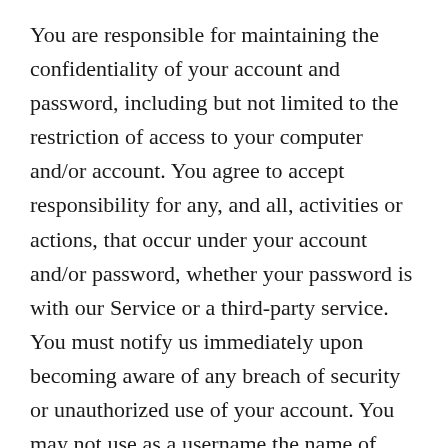You are responsible for maintaining the confidentiality of your account and password, including but not limited to the restriction of access to your computer and/or account. You agree to accept responsibility for any, and all, activities or actions, that occur under your account and/or password, whether your password is with our Service or a third-party service. You must notify us immediately upon becoming aware of any breach of security or unauthorized use of your account. You may not use as a username the name of another person or entity, or that is not lawfully available for use, a name or trademark that is subject to any rights of another person or entity other than you, without appropriate authorization. You may not use as a user name any name that is offensive, vulgar or obscene. We reserve the right to refuse service, terminate accounts, remove or edit content, or cancel orders at our sole discretion